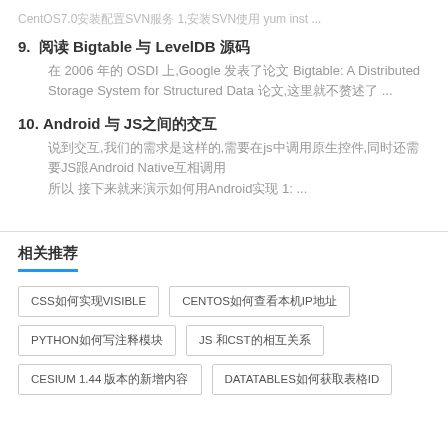CentOS7.0安装配置SVN服务 1,安装SVN使用 yum inst ...
9. 阅读 Bigtable 与 LevelDB 源码
在 2006 年的 OSDI 上,Google 发表了论文 Bigtable: A Distributed Storage System for Structured Data 论文,这里就不赘述了 ...
10. Android 与 JS之间的交互
说到交互,我们的需求是这样的,需要在js中调用原生控件,同时还需要JS跟Android Native互相调用 所以 接下来就来演示如何用Android实现 1: ...
相关推荐
CSS如何实现VISIBLE
CENTOS如何查看本机IP地址
PYTHON如何写注释模块
JS 和CST的相互关系
CESIUM 1.44 版本的新增内容
DATATABLES如何获取表格ID